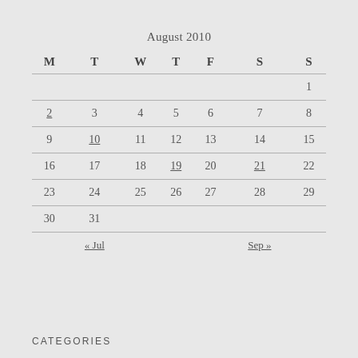| M | T | W | T | F | S | S |
| --- | --- | --- | --- | --- | --- | --- |
|  |  |  |  |  |  | 1 |
| 2 | 3 | 4 | 5 | 6 | 7 | 8 |
| 9 | 10 | 11 | 12 | 13 | 14 | 15 |
| 16 | 17 | 18 | 19 | 20 | 21 | 22 |
| 23 | 24 | 25 | 26 | 27 | 28 | 29 |
| 30 | 31 |  |  |  |  |  |
« Jul
Sep »
CATEGORIES